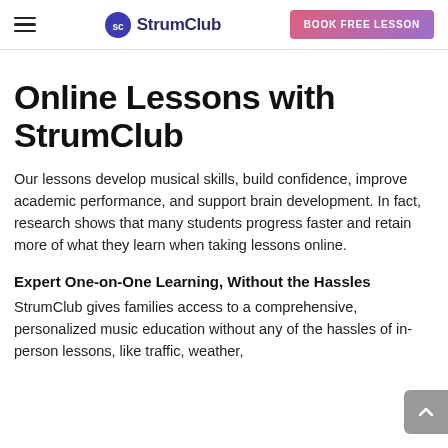StrumClub — BOOK FREE LESSON
Online Lessons with StrumClub
Our lessons develop musical skills, build confidence, improve academic performance, and support brain development. In fact, research shows that many students progress faster and retain more of what they learn when taking lessons online.
Expert One-on-One Learning, Without the Hassles
StrumClub gives families access to a comprehensive, personalized music education without any of the hassles of in-person lessons, like traffic, weather,